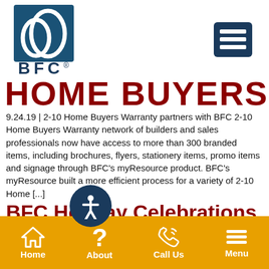[Figure (logo): BFC logo: blue square with white circular/oval design, text BFC with registered trademark symbol below]
[Figure (other): Navy blue hamburger menu button with three white horizontal lines]
HOME BUYERS
9.24.19 | 2-10 Home Buyers Warranty partners with BFC 2-10 Home Buyers Warranty network of builders and sales professionals now have access to more than 300 branded items, including brochures, flyers, stationery items, promo items and signage through BFC's myResource product. BFC's myResource built a more efficient process for a variety of 2-10 Home [...]
BFC Holiday Celebrations
[Figure (other): Dark blue circular accessibility icon with white person/stick figure symbol]
Home  About  Call Us  Menu